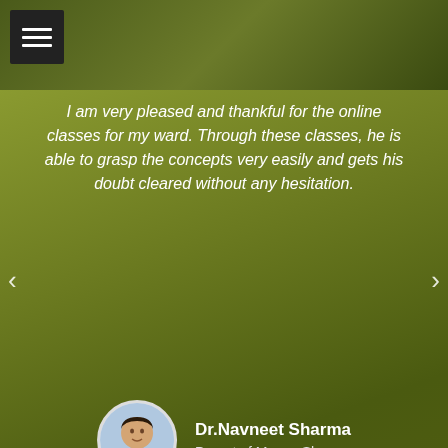[Figure (screenshot): Hamburger menu icon (three white horizontal bars on black background)]
I am very pleased and thankful for the online classes for my ward. Through these classes, he is able to grasp the concepts very easily and gets his doubt cleared without any hesitation.
[Figure (photo): Circular profile photo of Dr.Navneet Sharma]
Dr.Navneet Sharma
Parent of Manav Sharma
Take Admission Now
To give your child the best education with many curriculum activities